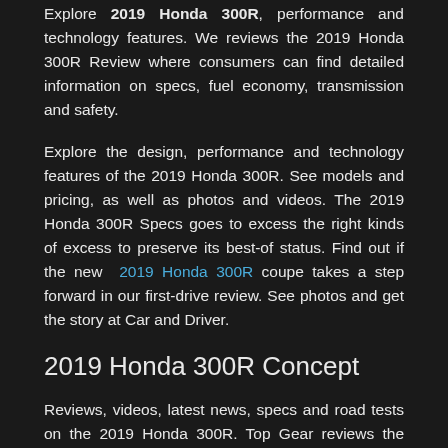Explore 2019 Honda 300R, performance and technology features. We reviews the 2019 Honda 300R Review where consumers can find detailed information on specs, fuel economy, transmission and safety.
Explore the design, performance and technology features of the 2019 Honda 300R. See models and pricing, as well as photos and videos. The 2019 Honda 300R Specs goes to excess the right kinds of excess to preserve its best-of status. Find out if the new 2019 Honda 300R coupe takes a step forward in our first-drive review. See photos and get the story at Car and Driver.
2019 Honda 300R Concept
Reviews, videos, latest news, specs and road tests on the 2019 Honda 300R. Top Gear reviews the Specs. Terrific refinement, class-leading technology, and incredible interior quality. Want to know more? Read more.
We now have one of many air vents twisting it'll close and